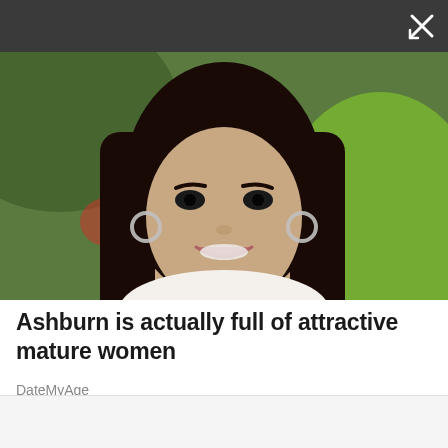[Figure (photo): Screenshot of a mobile ad unit with dark top navigation bar containing a close/expand button (X icon). Below is a photo of a smiling young woman with long dark hair, hoop earrings, wearing a white top, with a blurred green and red background.]
Ashburn is actually full of attractive mature women
DateMyAge